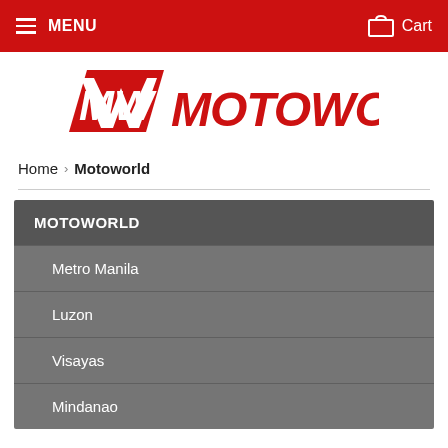MENU   Cart
[Figure (logo): Motoworld logo in red with stylized MW emblem and MOTOWORLD text]
Home › Motoworld
MOTOWORLD
Metro Manila
Luzon
Visayas
Mindanao